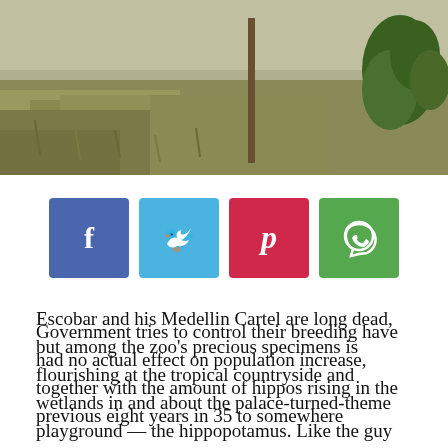[Figure (photo): Outdoor scene with grass, vegetation, a wooden pole, and a plant/tree in the upper right corner against a misty/foggy background]
[Figure (infographic): Social media sharing buttons: Facebook (blue), Twitter (cyan), Pinterest (red), WhatsApp (green)]
Escobar and his Medellin Cartel are long dead, but among the zoo's precious specimens is flourishing at the tropical countryside and wetlands in and about the palace-turned-theme playground — the hippopotamus. Like the guy who introduced to this nation after receiving them by a U.S. zoo, they're a source of controversy.
Government tries to control their breeding have had no actual effect on population increase, together with the amount of hippos rising in the previous eight years in 35 to somewhere